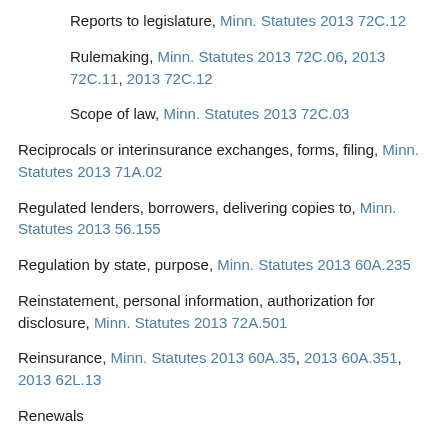Reports to legislature, Minn. Statutes 2013 72C.12
Rulemaking, Minn. Statutes 2013 72C.06, 2013 72C.11, 2013 72C.12
Scope of law, Minn. Statutes 2013 72C.03
Reciprocals or interinsurance exchanges, forms, filing, Minn. Statutes 2013 71A.02
Regulated lenders, borrowers, delivering copies to, Minn. Statutes 2013 56.155
Regulation by state, purpose, Minn. Statutes 2013 60A.235
Reinstatement, personal information, authorization for disclosure, Minn. Statutes 2013 72A.501
Reinsurance, Minn. Statutes 2013 60A.35, 2013 60A.351, 2013 62L.13
Renewals